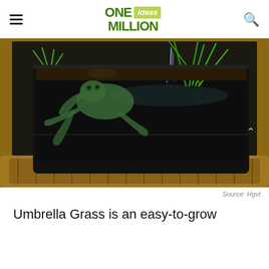ONE ideas MILLION
[Figure (photo): A decorative indoor water fountain inside a wicker basket, featuring a black rectangular container with water trickling down, green umbrella grass and other plants growing from it, and a bronze frog figurine climbing on the side.]
Source: Hgvt
Umbrella Grass is an easy-to-grow